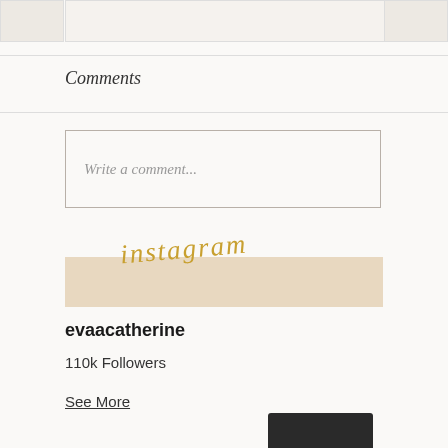[Figure (screenshot): Carousel image strip with three dots pagination indicator]
Comments
Write a comment...
[Figure (logo): Instagram script logo in gold with beige banner background]
evaacatherine
110k Followers
See More